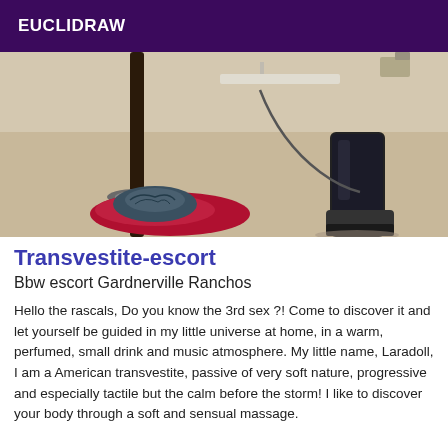EUCLIDRAW
[Figure (photo): Close-up photo showing lower legs/feet area with dark high-heeled platform boots and a decorative object on a red fabric, shot from floor level in a room]
Transvestite-escort
Bbw escort Gardnerville Ranchos
Hello the rascals, Do you know the 3rd sex ?! Come to discover it and let yourself be guided in my little universe at home, in a warm, perfumed, small drink and music atmosphere. My little name, Laradoll, I am a American transvestite, passive of very soft nature, progressive and especially tactile but the calm before the storm! I like to discover your body through a soft and sensual massage.